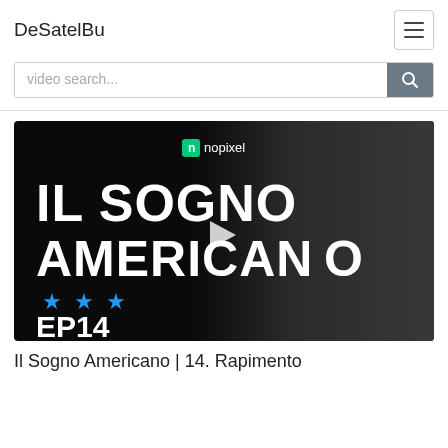DeSatelBu
video search...
[Figure (screenshot): Video thumbnail for 'Il Sogno Americano EP14' featuring the nopixel logo, large bold text reading 'IL SOGNO AMERICANO', three blue stars, 'EP14', and a man holding a rifle/gun on a dark background. A play button is overlaid in the center.]
Il Sogno Americano | 14. Rapimento